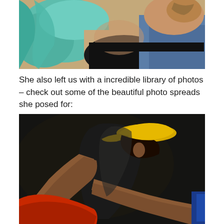[Figure (photo): Close-up photograph of a person sitting, wearing blue jeans and a teal/turquoise top, with a visible tattoo on upper arm. A beige couch or cushion is in the background.]
She also left us with a incredible library of photos – check out some of the beautiful photo spreads she posed for:
[Figure (photo): Photograph of a woman wearing a yellow baseball cap and dark top, posing against a dark/black background, leaning forward with her arms extended toward a red object. Dramatic lighting.]